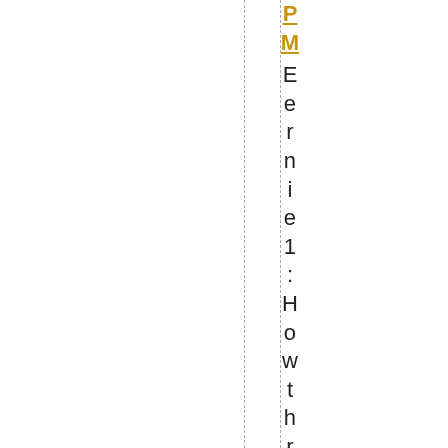PM Eernie1: How thrilling! We are in